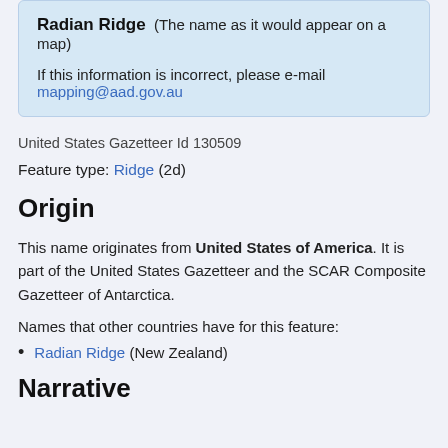Radian Ridge (The name as it would appear on a map)

If this information is incorrect, please e-mail mapping@aad.gov.au
United States Gazetteer Id 130509
Feature type: Ridge (2d)
Origin
This name originates from United States of America. It is part of the United States Gazetteer and the SCAR Composite Gazetteer of Antarctica.
Names that other countries have for this feature:
Radian Ridge (New Zealand)
Narrative